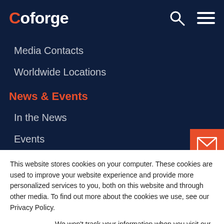Coforge
Media Contacts
Worldwide Locations
News & Events
In the News
Events
Media Coverage
Media Kit
Our Companies
AdvantageGo
This website stores cookies on your computer. These cookies are used to improve your website experience and provide more personalized services to you, both on this website and through other media. To find out more about the cookies we use, see our Privacy Policy.
We won't track your information when you visit our site. But in order to comply with your preferences, we'll have to use just one tiny cookie so that you're